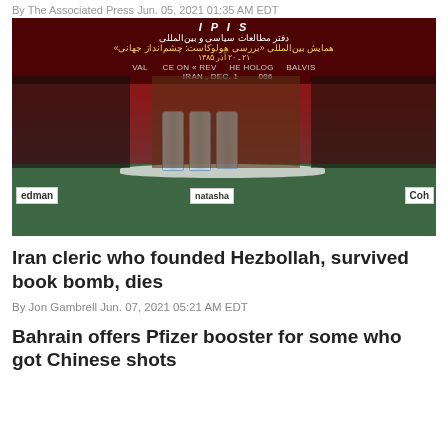By The Associated Press Jun. 05, 2021 01:35 AM EDT
[Figure (photo): Conference panel scene at IPIS (Institute for Political and International Studies) Holocaust Review Conference, Tehran, December 2006. Three men seated at a green table with water bottles and name cards reading 'edman', 'natasha', and 'Coh'. Banner in Farsi and English visible behind them.]
Iran cleric who founded Hezbollah, survived book bomb, dies
By Jon Gambrell Jun. 07, 2021 05:21 AM EDT
Bahrain offers Pfizer booster for some who got Chinese shots